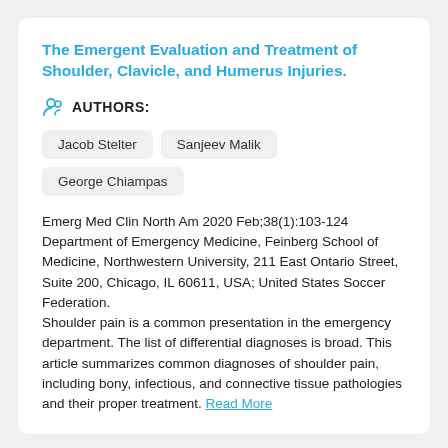The Emergent Evaluation and Treatment of Shoulder, Clavicle, and Humerus Injuries.
AUTHORS:
Jacob Stelter
Sanjeev Malik
George Chiampas
Emerg Med Clin North Am 2020 Feb;38(1):103-124 Department of Emergency Medicine, Feinberg School of Medicine, Northwestern University, 211 East Ontario Street, Suite 200, Chicago, IL 60611, USA; United States Soccer Federation.
Shoulder pain is a common presentation in the emergency department. The list of differential diagnoses is broad. This article summarizes common diagnoses of shoulder pain, including bony, infectious, and connective tissue pathologies and their proper treatment. Read More